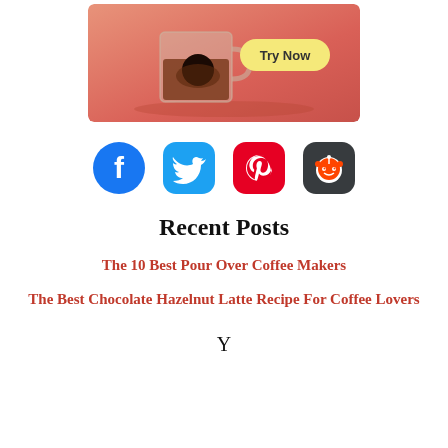[Figure (photo): Advertisement banner showing a glass mug with dark coffee/tea on a pinkish-red background with a 'Try Now' button in a yellow pill shape]
[Figure (infographic): Row of four social media icons: Facebook (blue circle), Twitter (blue rounded square), Pinterest (red rounded square), Reddit (dark rounded square)]
Recent Posts
The 10 Best Pour Over Coffee Makers
The Best Chocolate Hazelnut Latte Recipe For Coffee Lovers